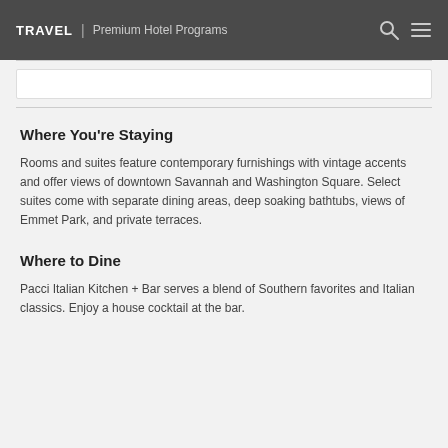TRAVEL | Premium Hotel Programs
Where You're Staying
Rooms and suites feature contemporary furnishings with vintage accents and offer views of downtown Savannah and Washington Square. Select suites come with separate dining areas, deep soaking bathtubs, views of Emmet Park, and private terraces.
Where to Dine
Pacci Italian Kitchen + Bar serves a blend of Southern favorites and Italian classics. Enjoy a house cocktail at the bar.